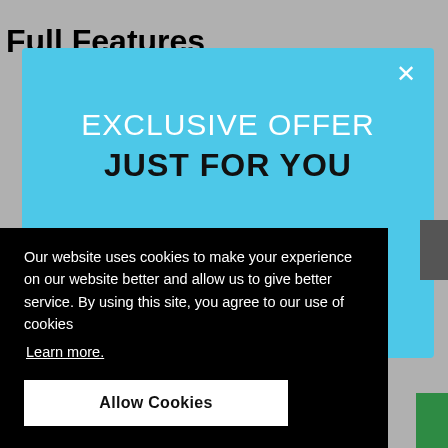Full Features
[Figure (screenshot): A website screenshot showing a blue modal popup with 'EXCLUSIVE OFFER JUST FOR YOU' overlaid by a black cookie consent banner with text about cookies and an 'Allow Cookies' button.]
Our website uses cookies to make your experience on our website better and allow us to give better service. By using this site, you agree to our use of cookies
Learn more.
Allow Cookies